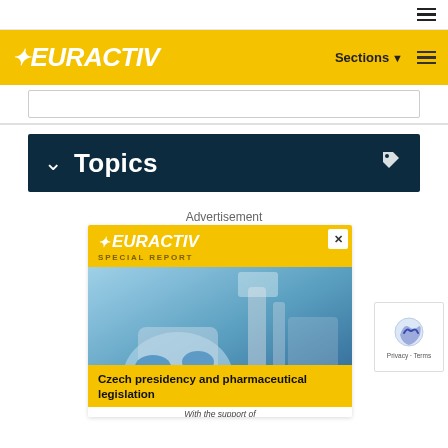EURACTIV — Sections ≡
Topics
Advertisement
[Figure (screenshot): EURACTIV Special Report advertisement banner for 'Czech presidency and pharmaceutical legislation' with a lab worker background image and yellow EURACTIV branding. Includes a close button (X), EURACTIV logo, SPECIAL REPORT text, and the headline 'Czech presidency and pharmaceutical legislation'. Bottom text reads 'With the support of'.]